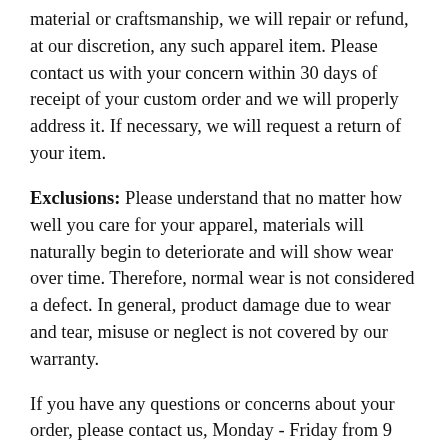material or craftsmanship, we will repair or refund, at our discretion, any such apparel item. Please contact us with your concern within 30 days of receipt of your custom order and we will properly address it. If necessary, we will request a return of your item.
Exclusions: Please understand that no matter how well you care for your apparel, materials will naturally begin to deteriorate and will show wear over time. Therefore, normal wear is not considered a defect. In general, product damage due to wear and tear, misuse or neglect is not covered by our warranty.
If you have any questions or concerns about your order, please contact us, Monday - Friday from 9 am through 5 pm ET at 1-585-750-7550.